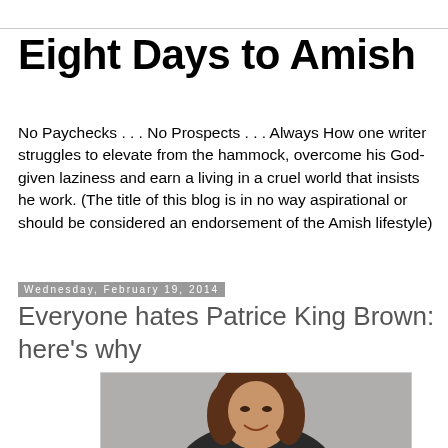Eight Days to Amish
No Paychecks . . . No Prospects . . . Always How one writer struggles to elevate from the hammock, overcome his God-given laziness and earn a living in a cruel world that insists he work. (The title of this blog is in no way aspirational or should be considered an endorsement of the Amish lifestyle)
Wednesday, February 19, 2014
Everyone hates Patrice King Brown: here's why
[Figure (photo): Headshot of a smiling woman with shoulder-length brown hair against a grey background]